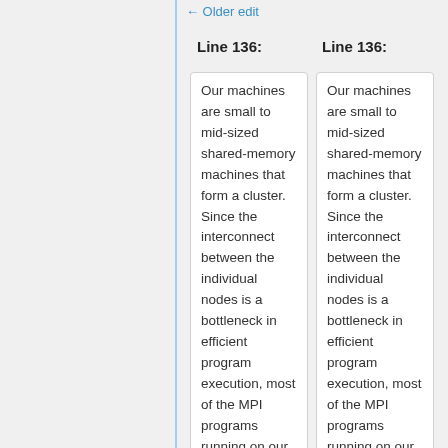← Older edit
Line 136:
Line 136:
Our machines are small to mid-sized shared-memory machines that form a cluster. Since the interconnect between the individual nodes is a bottleneck in efficient program execution, most of the MPI programs running on our machines are executed within a node. This alloows
Our machines are small to mid-sized shared-memory machines that form a cluster. Since the interconnect between the individual nodes is a bottleneck in efficient program execution, most of the MPI programs running on our machines are executed within a node. This alloows